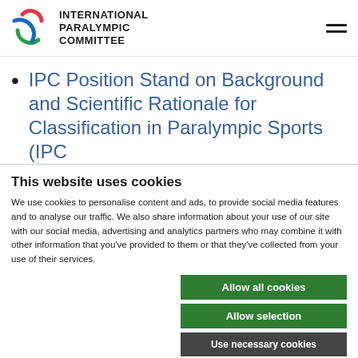INTERNATIONAL PARALYMPIC COMMITTEE
IPC Position Stand on Background and Scientific Rationale for Classification in Paralympic Sports (IPC Handbook, Section 2, Chapter 1.2)
This website uses cookies
We use cookies to personalise content and ads, to provide social media features and to analyse our traffic. We also share information about your use of our site with our social media, advertising and analytics partners who may combine it with other information that you've provided to them or that they've collected from your use of their services.
Allow all cookies | Allow selection | Use necessary cookies
essary  Preferences  Statistics  Show details
Marketing
Awarded biennially, the IPC reco...